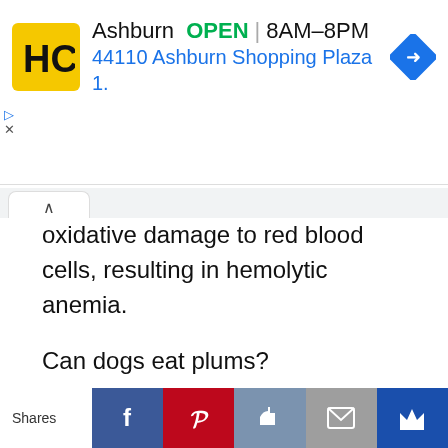[Figure (screenshot): HC logo advertisement banner: HC logo in yellow square, 'Ashburn OPEN 8AM–8PM 44110 Ashburn Shopping Plaza 1.' with blue navigation diamond icon]
oxidative damage to red blood cells, resulting in hemolytic anemia.
Can dogs eat plums?
The Answer To “Can Dogs Eat Plums” Is Yes
While plum fruit is technically safe for dogs, the pits and stems are highly toxic and can
[Figure (screenshot): Social share bar with Shares label and buttons: Facebook (blue), Pinterest (red), Like (blue-grey), Email (grey), Crown (dark blue)]